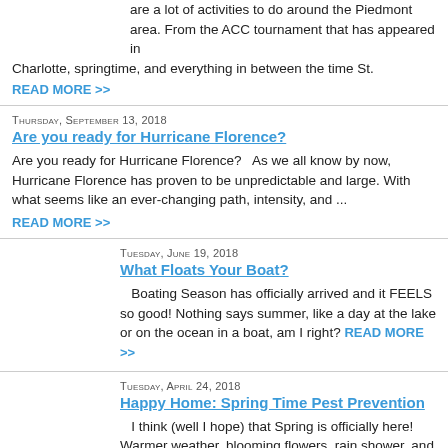are a lot of activities to do around the Piedmont area. From the ACC tournament that has appeared in Charlotte, springtime, and everything in between the time St.
READ MORE >>
Thursday, September 13, 2018
Are you ready for Hurricane Florence?
Are you ready for Hurricane Florence?   As we all know by now, Hurricane Florence has proven to be unpredictable and large. With what seems like an ever-changing path, intensity, and ...
READ MORE >>
Tuesday, June 19, 2018
What Floats Your Boat?
Boating Season has officially arrived and it FEELS so good! Nothing says summer, like a day at the lake or on the ocean in a boat, am I right? READ MORE >>
Tuesday, April 24, 2018
Happy Home: Spring Time Pest Prevention
I think (well I hope) that Spring is officially here! Warmer weather, blooming flowers, rain shower, and pests. That's right, PESTS, those unwelcome houseguests are making their way out of hiding, and into our homes. READ MORE >>
Saturday, January 13, 2018